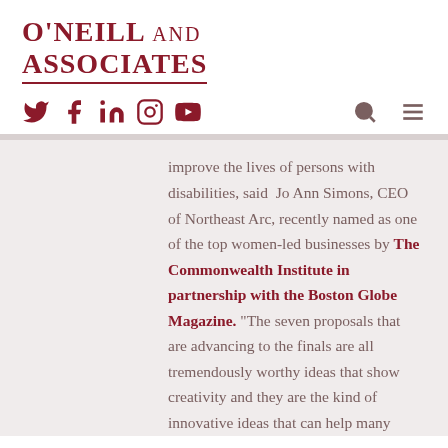O'Neill and Associates
improve the lives of persons with disabilities, said Jo Ann Simons, CEO of Northeast Arc, recently named as one of the top women-led businesses by The Commonwealth Institute in partnership with the Boston Globe Magazine. “The seven proposals that are advancing to the finals are all tremendously worthy ideas that show creativity and they are the kind of innovative ideas that can help many nonprofit human service providers. It will be exciting to hear their pitches in person at the event on